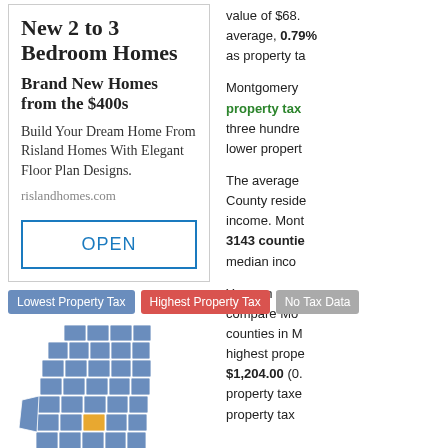[Figure (other): Advertisement for Risland Homes: New 2 to 3 Bedroom Homes, Brand New Homes from the $400s, Build Your Dream Home From Risland Homes With Elegant Floor Plan Designs. rislandhomes.com. OPEN button.]
[Figure (infographic): Legend row with three color-coded buttons: Lowest Property Tax (blue), Highest Property Tax (red), No Tax Data (gray)]
[Figure (map): Map of Mississippi counties color-coded in blue with one county highlighted in yellow/orange (Montgomery County), showing property tax data.]
value of $68... average, 0.79%... as property ta...
Montgomery ... property tax ... three hundre... lower propert...
The average ... County reside... income. Mont... 3143 countie... median inco...
You can use ... compare Mo... counties in M... highest prope... $1,204.00 (0.... property taxe... property tax ...